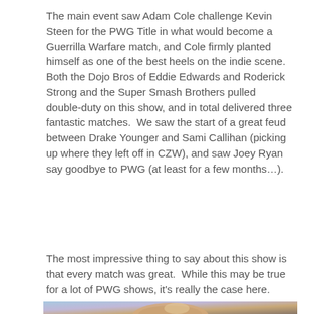The main event saw Adam Cole challenge Kevin Steen for the PWG Title in what would become a Guerrilla Warfare match, and Cole firmly planted himself as one of the best heels on the indie scene.  Both the Dojo Bros of Eddie Edwards and Roderick Strong and the Super Smash Brothers pulled double-duty on this show, and in total delivered three fantastic matches.  We saw the start of a great feud between Drake Younger and Sami Callihan (picking up where they left off in CZW), and saw Joey Ryan say goodbye to PWG (at least for a few months…).
The most impressive thing to say about this show is that every match was great.  While this may be true for a lot of PWG shows, it's really the case here.
[Figure (photo): A bald man photographed from above/front, appears to be looking down. Background shows blue/purple and tan/brown tones.]